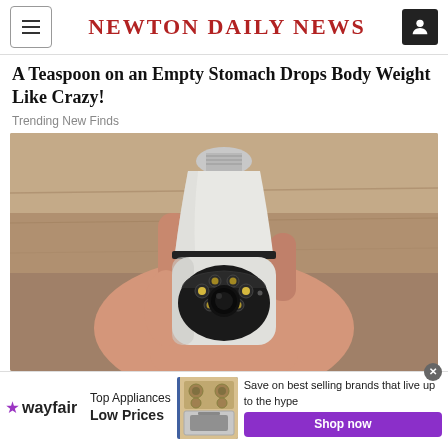Newton Daily News
A Teaspoon on an Empty Stomach Drops Body Weight Like Crazy!
Trending New Finds
[Figure (photo): A hand holding a white security camera shaped like a light bulb, with a lens and LED lights visible on the front.]
[Figure (photo): Wayfair advertisement banner: Top Appliances Low Prices, with image of a stove/range, and Save on best selling brands that live up to the hype. Shop now button.]